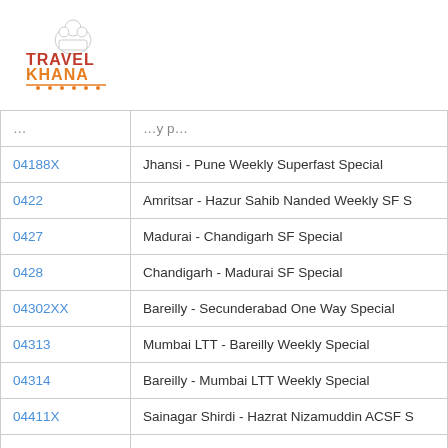[Figure (logo): Travel Khana logo with chef hat icon, TRAVEL in red/dark text, KHANA in orange text, decorative spoon/fork line below]
| Train No. | Train Name |
| --- | --- |
| 04188X | Jhansi - Pune Weekly Superfast Special |
| 0422 | Amritsar - Hazur Sahib Nanded Weekly SF S… |
| 0427 | Madurai - Chandigarh SF Special |
| 0428 | Chandigarh - Madurai SF Special |
| 04302XX | Bareilly - Secunderabad One Way Special |
| 04313 | Mumbai LTT - Bareilly Weekly Special |
| 04314 | Bareilly - Mumbai LTT Weekly Special |
| 04411X | Sainagar Shirdi - Hazrat Nizamuddin ACSF S… |
| 04412XXX | Hazrat Nizamuddin - Sainagar Shirdi ACSF S… |
| 04413XXX | Hazrat Nizamuddin - Amritsar Special/T… |